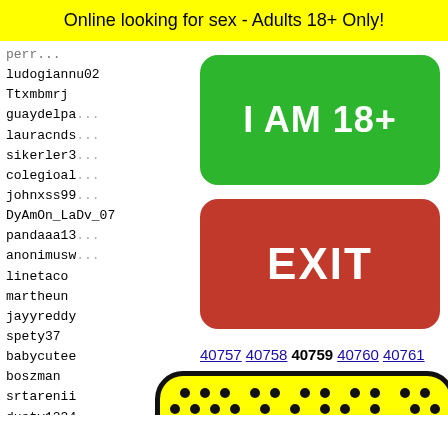Online looking for sex - Adults 18+ Only!
ludogiannu02
Ttxmbmrj
guaydelpa...
lauracnds...
sikerler3...
colegioal...
johnxss99...
DyAmOn_LaDv_07
pandaaa13...
anonimusw...
linetaco
martheun
jayyreddy
spety37
babycutee
boszman
srtarenii
dusty1234
je00n
german
oyvey4...
daviss...
dudejd...
phoeni...
diieeg...
[Figure (other): Green button saying I AM 18+]
[Figure (other): Red button saying EXIT]
40757 40758 40759 40760 40761
[Figure (illustration): Yellow rounded rectangle with black dot pattern and a cartoon frog face at the bottom center]